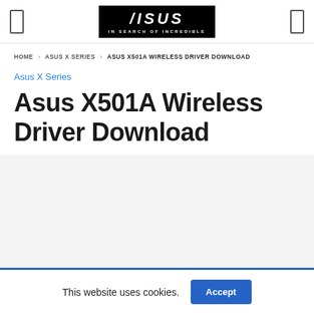ASUS — IN SEARCH OF INCREDIBLE
HOME › ASUS X SERIES › ASUS X501A WIRELESS DRIVER DOWNLOAD
Asus X Series
Asus X501A Wireless Driver Download
This website uses cookies.
Accept